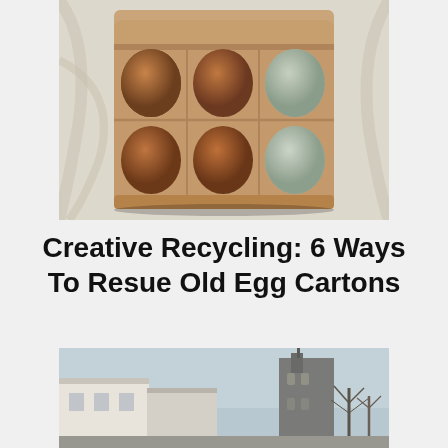[Figure (photo): Overhead view of an open egg carton with six eggs — four brown eggs and two pale blue/green eggs arranged in two rows of three]
Creative Recycling: 6 Ways To Resue Old Egg Cartons
[Figure (photo): Street-level view of a small town with white-rendered buildings on the left and a stone church tower with bare trees on the right under an overcast sky]